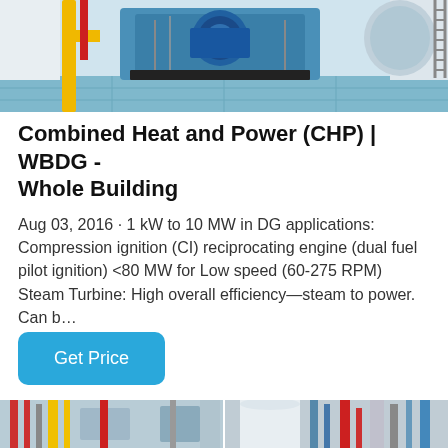[Figure (photo): Industrial boiler/CHP equipment room with blue machinery, yellow pipes, and tiled blue floor]
Combined Heat and Power (CHP) | WBDG - Whole Building
Aug 03, 2016 · 1 kW to 10 MW in DG applications: Compression ignition (CI) reciprocating engine (dual fuel pilot ignition) <80 MW for Low speed (60-275 RPM) Steam Turbine: High overall efficiency—steam to power. Can b...
[Figure (photo): Industrial plant/boiler room photo showing pipes, valves and equipment in a split-panel view]